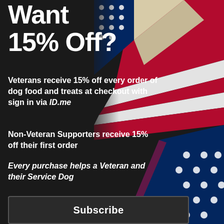[Figure (photo): American flag draped in the upper right corner of the page against a dark background]
Want 15% Off?
Veterans receive 15% off every order of dog food and treats at checkout with sign in via ID.me
Non-Veteran Supporters receive 15% off their first order
Every purchase helps a Veteran and their Service Dog
Email
Veteran
Supporter (non-Veteran)
Subscribe